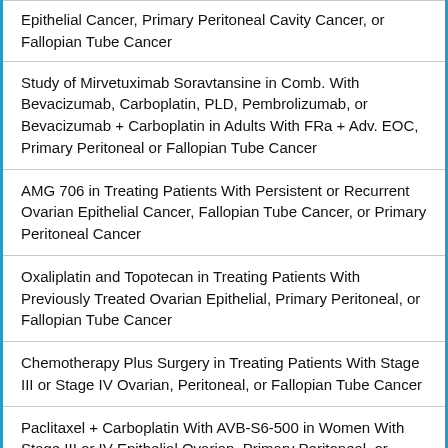Epithelial Cancer, Primary Peritoneal Cavity Cancer, or Fallopian Tube Cancer
Study of Mirvetuximab Soravtansine in Comb. With Bevacizumab, Carboplatin, PLD, Pembrolizumab, or Bevacizumab + Carboplatin in Adults With FRa + Adv. EOC, Primary Peritoneal or Fallopian Tube Cancer
AMG 706 in Treating Patients With Persistent or Recurrent Ovarian Epithelial Cancer, Fallopian Tube Cancer, or Primary Peritoneal Cancer
Oxaliplatin and Topotecan in Treating Patients With Previously Treated Ovarian Epithelial, Primary Peritoneal, or Fallopian Tube Cancer
Chemotherapy Plus Surgery in Treating Patients With Stage III or Stage IV Ovarian, Peritoneal, or Fallopian Tube Cancer
Paclitaxel + Carboplatin With AVB-S6-500 in Women With Stage III or IV Epithelial Ovarian, Primary Peritoneal, or Fallopian Tube Cancer Receiving Neoadjuvant Chemotherapy